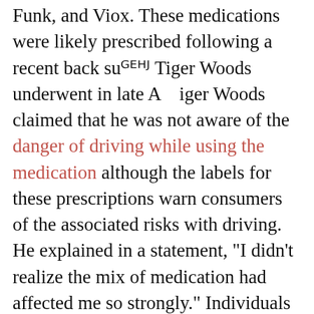Funk, and Viox. These medications were likely prescribed following a recent back surgery Tiger Woods underwent in late April. Tiger Woods claimed that he was not aware of the danger of driving while using the medication although the labels for these prescriptions warn consumers of the associated risks with driving. He explained in a statement, "I didn't realize the mix of medication had affected me so strongly." Individuals with prescriptions often do not take into account that certain medications can affect cognitive functions to the same extent as alcohol.